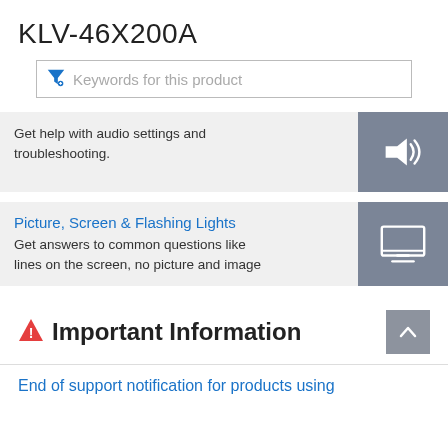KLV-46X200A
[Figure (screenshot): Search filter input box with funnel/filter icon on the left and placeholder text 'Keywords for this product']
Get help with audio settings and troubleshooting.
Picture, Screen & Flashing Lights
Get answers to common questions like lines on the screen, no picture and image
Important Information
End of support notification for products using